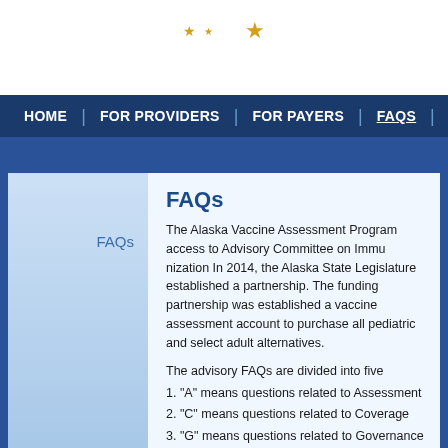Alaska Vaccine Assessment Program website header with stars
HOME | FOR PROVIDERS | FOR PAYERS | FAQS | FORMS
FAQs
FAQs
The Alaska Vaccine Assessment Program access to Advisory Committee on Immunization In 2014, the Alaska State Legislature established a partnership. The funding partnership was established a vaccine assessment account to purchase all pediatric and select adult alternatives.
The advisory FAQs are divided into five categories:
1. "A" means questions related to Assessment
2. "C" means questions related to Coverage
3. "G" means questions related to Governance
4. "P" means questions related to Providers
5. "V" means questions related to Vaccines